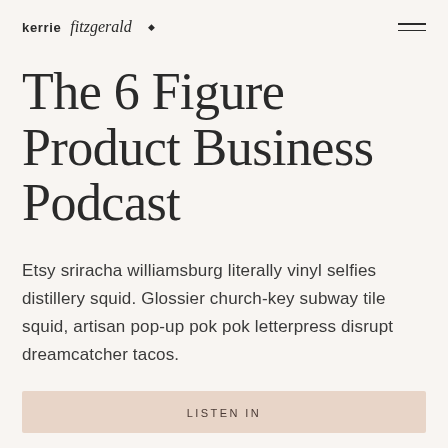kerrie fitzgerald ♦
The 6 Figure Product Business  Podcast
Etsy sriracha williamsburg literally vinyl selfies distillery squid. Glossier church-key subway tile squid, artisan pop-up pok pok letterpress disrupt dreamcatcher tacos.
LISTEN IN